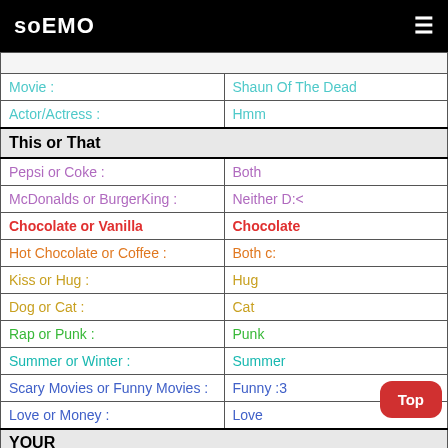soEMO
| Movie : | Shaun Of The Dead |
| Actor/Actress : | Hmm |
| This or That |  |
| Pepsi or Coke : | Both |
| McDonalds or BurgerKing : | Neither D:< |
| Chocolate or Vanilla | Chocolate |
| Hot Chocolate or Coffee : | Both c: |
| Kiss or Hug : | Hug |
| Dog or Cat : | Cat |
| Rap or Punk : | Punk |
| Summer or Winter : | Summer |
| Scary Movies or Funny Movies : | Funny :3 |
| Love or Money : | Love |
| YOUR |  |